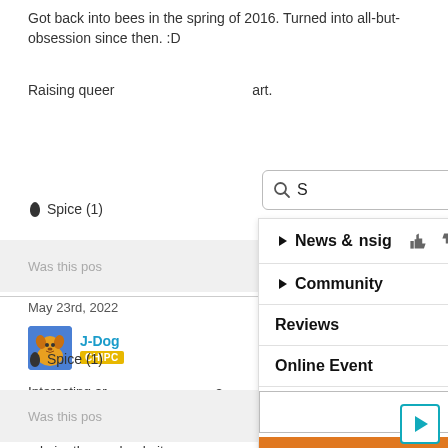Got back into bees in the spring of 2016. Turned into all-but-obsession since then. :D
Raising queer                     art.
🌶 Spice (1)
Was this pos
[Figure (screenshot): Search box with magnifying glass icon and letter S]
[Figure (screenshot): Dropdown menu with items: News & Nsig, Community, Reviews, Online Event, and input box with orange button]
May 23rd, 2022
J-Dog  CHIPC
Interesting ar          s been fascinated by bees. I would never want to          ut I admire those who do it.
🌶 Spice (1)
Was this pos
[Figure (screenshot): Play button icon in bottom right corner]